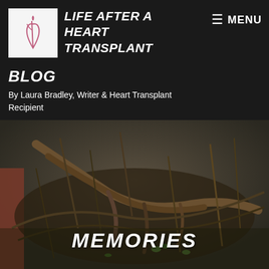LIFE AFTER A HEART TRANSPLANT
BLOG
By Laura Bradley, Writer & Heart Transplant Recipient
[Figure (photo): Close-up photograph of tangled roots, sticks and soil on the ground with small green plant sprouts visible]
MEMORIES